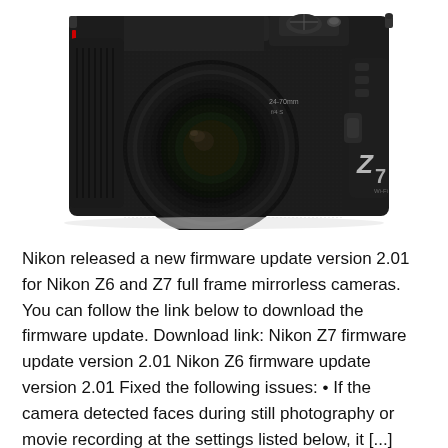[Figure (photo): Photo of a Nikon Z7 mirrorless camera with a NIKKOR lens attached, shot from a front-left angle against a white background.]
Nikon released a new firmware update version 2.01 for Nikon Z6 and Z7 full frame mirrorless cameras. You can follow the link below to download the firmware update. Download link: Nikon Z7 firmware update version 2.01 Nikon Z6 firmware update version 2.01 Fixed the following issues: • If the camera detected faces during still photography or movie recording at the settings listed below, it [...]